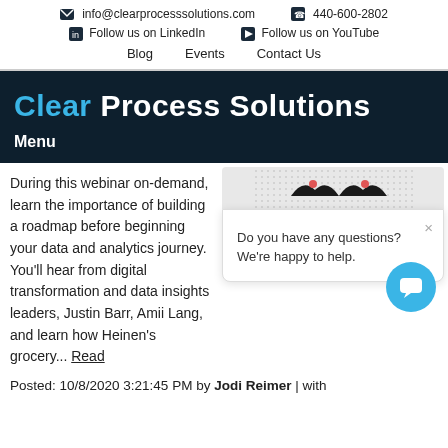info@clearprocesssolutions.com  440-600-2802  Follow us on LinkedIn  Follow us on YouTube  Blog  Events  Contact Us
Clear Process Solutions
Menu
During this webinar on-demand, learn the importance of building a roadmap before beginning your data and analytics journey. You'll hear from digital transformation and data insights leaders, Justin Barr, Amii Lang, and learn how Heinen's grocery... Read
[Figure (screenshot): Chat popup widget with close button (×) and text: Do you have any questions? We're happy to help. A teal chat bubble button is in the lower right.]
Posted: 10/8/2020 3:21:45 PM by Jodi Reimer | with